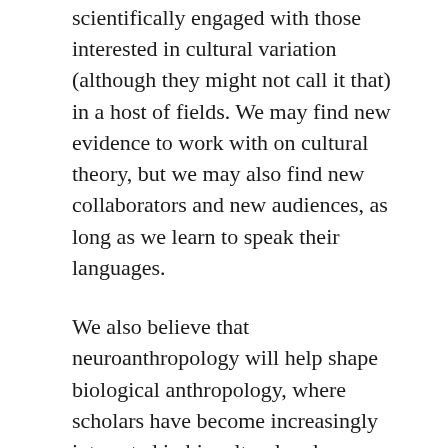scientifically engaged with those interested in cultural variation (although they might not call it that) in a host of fields. We may find new evidence to work with on cultural theory, but we may also find new collaborators and new audiences, as long as we learn to speak their languages.
We also believe that neuroanthropology will help shape biological anthropology, where scholars have become increasingly interested in biocultural and integrative approaches. A firm grounding in neuroscience aids in the examination of behavior; in understanding how the environment, including culture, impacts people; and in developing novel approaches to human evolution. With links to social, cultural, and psychological anthropology,